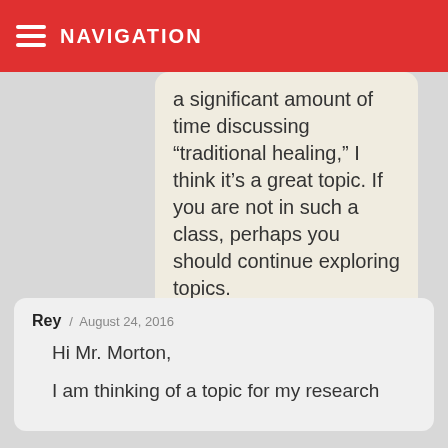NAVIGATION
a significant amount of time discussing “traditional healing,” I think it’s a great topic. If you are not in such a class, perhaps you should continue exploring topics.
Rey / August 24, 2016

Hi Mr. Morton,

I am thinking of a topic for my research